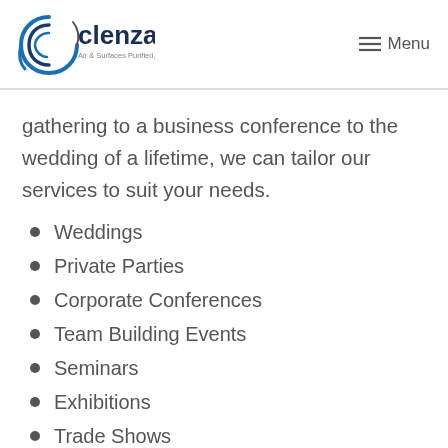[Figure (logo): Clenzair logo — stylized C with swirl lines in blue/dark blue, company name 'clenzair' in bold dark blue, tagline 'Air & Surfaces Purified, Viruses Neutralised' in small text below]
gathering to a business conference to the wedding of a lifetime, we can tailor our services to suit your needs.
Weddings
Private Parties
Corporate Conferences
Team Building Events
Seminars
Exhibitions
Trade Shows